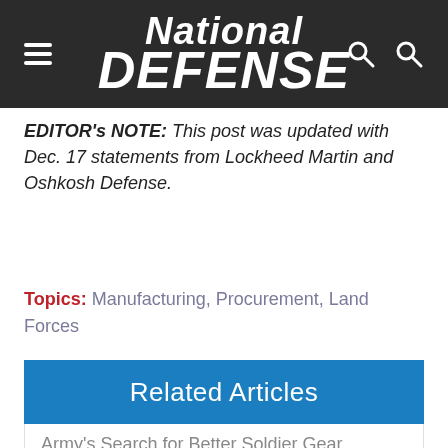National DEFENSE
EDITOR's NOTE: This post was updated with Dec. 17 statements from Lockheed Martin and Oshkosh Defense.
Topics: Manufacturing, Procurement, Land Forces
Related Articles
Army's Search for Better Soldier Gear